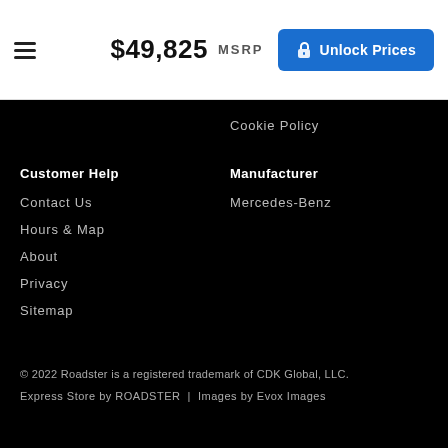$49,825 MSRP | Unlock Prices
Cookie Policy
Customer Help
Contact Us
Hours & Map
About
Privacy
Sitemap
Manufacturer
Mercedes-Benz
© 2022 Roadster is a registered trademark of CDK Global, LLC. Express Store by ROADSTER | Images by Evox Images